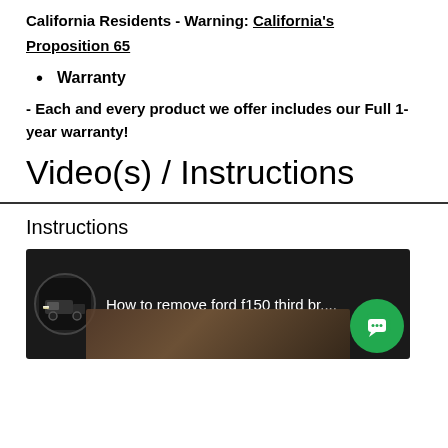California Residents - Warning: California's Proposition 65
Warranty
- Each and every product we offer includes our Full 1-year warranty!
Video(s) / Instructions
Instructions
[Figure (screenshot): Video thumbnail showing a truck with LED lights and text 'How to remove ford f150 third br...' with a green chat button overlay]